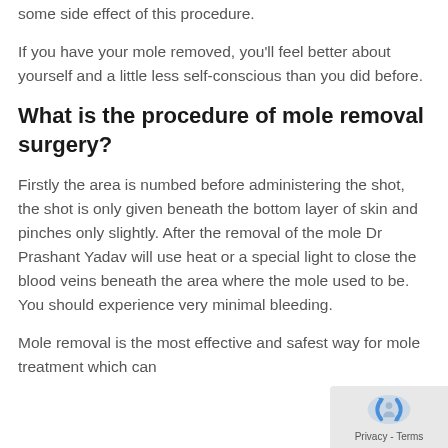some side effect of this procedure.
If you have your mole removed, you'll feel better about yourself and a little less self-conscious than you did before.
What is the procedure of mole removal surgery?
Firstly the area is numbed before administering the shot, the shot is only given beneath the bottom layer of skin and pinches only slightly. After the removal of the mole Dr Prashant Yadav will use heat or a special light to close the blood veins beneath the area where the mole used to be. You should experience very minimal bleeding.
Mole removal is the most effective and safest way for mole treatment which can